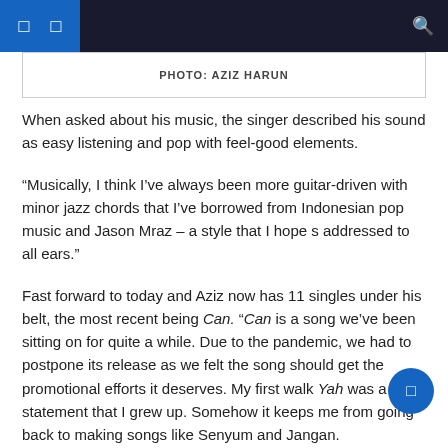PHOTO: AZIZ HARUN
When asked about his music, the singer described his sound as easy listening and pop with feel-good elements.
“Musically, I think I’ve always been more guitar-driven with minor jazz chords that I’ve borrowed from Indonesian pop music and Jason Mraz – a style that I hope s addressed to all ears.”
Fast forward to today and Aziz now has 11 singles under his belt, the most recent being Can. “Can is a song we’ve been sitting on for quite a while. Due to the pandemic, we had to postpone its release as we felt the song should get the promotional efforts it deserves. My first walk Yah was a statement that I grew up. Somehow it keeps me from going back to making songs like Senyum and Jangan.